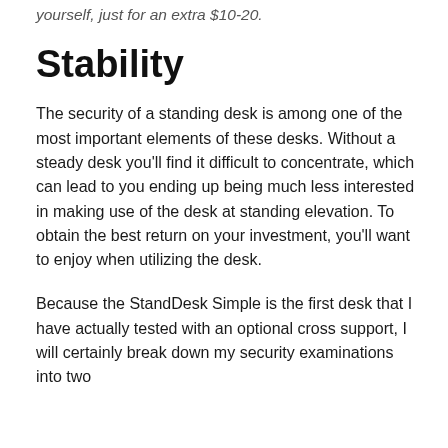yourself, just for an extra $10-20.
Stability
The security of a standing desk is among one of the most important elements of these desks. Without a steady desk you’ll find it difficult to concentrate, which can lead to you ending up being much less interested in making use of the desk at standing elevation. To obtain the best return on your investment, you’ll want to enjoy when utilizing the desk.
Because the StandDesk Simple is the first desk that I have actually tested with an optional cross support, I will certainly break down my security examinations into two